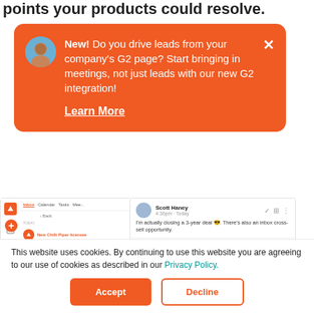points your products could resolve.
[Figure (screenshot): Orange notification card with avatar, bold 'New!' text, message about G2 integration, close button, and 'Learn More' underlined link]
[Figure (screenshot): App screenshot showing inbox and chat messages between Scott Haney and Alina Vandenberghe about closing a 3-year deal]
This website uses cookies. By continuing to use this website you are agreeing to our use of cookies as described in our Privacy Policy.
Accept
Decline